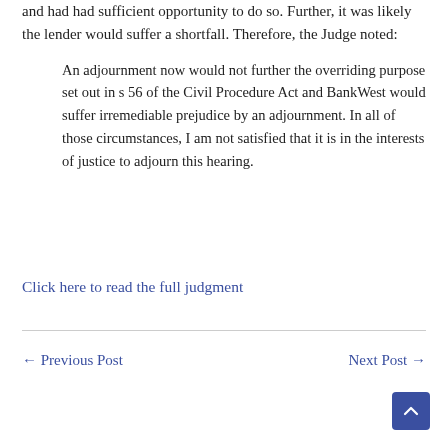and had had sufficient opportunity to do so. Further, it was likely the lender would suffer a shortfall. Therefore, the Judge noted:
An adjournment now would not further the overriding purpose set out in s 56 of the Civil Procedure Act and BankWest would suffer irremediable prejudice by an adjournment. In all of those circumstances, I am not satisfied that it is in the interests of justice to adjourn this hearing.
Click here to read the full judgment
← Previous Post   Next Post →